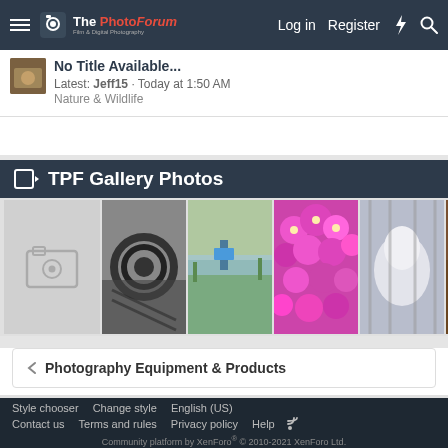The PhotoForum — Film & Digital Photography | Log in | Register
Latest: Jeff15 · Today at 1:50 AM
Nature & Wildlife
TPF Gallery Photos
[Figure (photo): TPF Gallery Photos strip showing: placeholder image icon, black-and-white spiral/rope photo, green marsh with blue chair, bright pink flowers, blurred white dog behind fence, person in red]
Photography Equipment & Products
Style chooser   Change style   English (US)
Contact us   Terms and rules   Privacy policy   Help
Community platform by XenForo® © 2010-2021 XenForo Ltd.